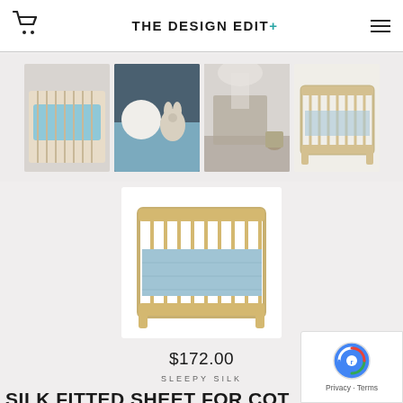THE DESIGN EDIT+
[Figure (photo): Four thumbnail images of a silk fitted cot sheet product: blue sheet on cot, plush toys on blue sheet, nursery room scene, natural wood cot frame]
[Figure (photo): Main product image: natural wood cot/crib with light blue silk fitted sheet]
$172.00
SLEEPY SILK
SILK FITTED SHEET FOR COT SKY ARROWS